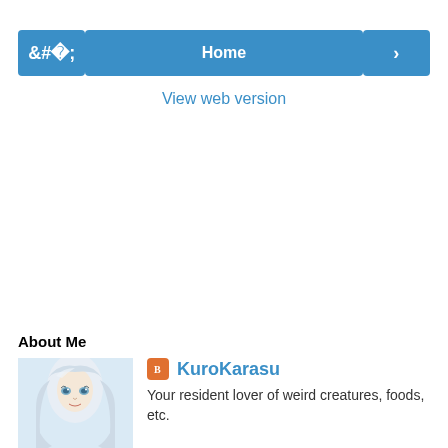< Home >
View web version
About Me
[Figure (illustration): Anime-style illustration of a character with long white/silver hair]
KuroKarasu
Your resident lover of weird creatures, foods, etc.